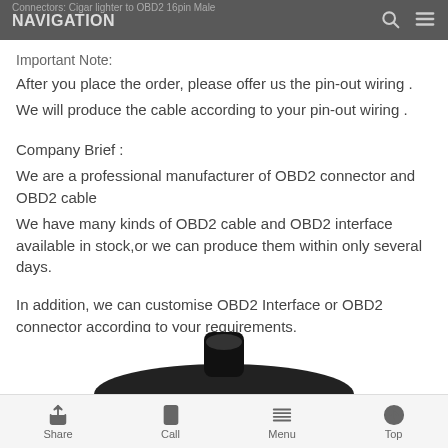Connectors: Cigar lighter to OBD2 16pin Male
NAVIGATION
Important Note:
After you place the order, please offer us the pin-out wiring .
We will produce the cable according to your pin-out wiring .
Company Brief :
We are a professional manufacturer of OBD2 connector and OBD2 cable
We have many kinds of OBD2 cable and OBD2 interface available in stock,or we can produce them within only several days.
In addition, we can customise OBD2 Interface or OBD2 connector according to your requirements.
[Figure (photo): Photo of a cable connector product, showing the top of a black cable/connector.]
Share  Call  Menu  Top